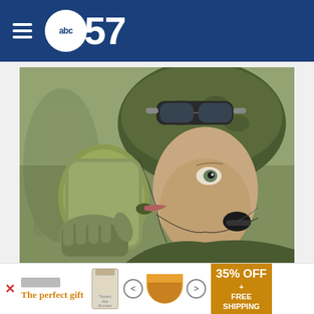abc57
[Figure (photo): A soldier in military gear and helmet drinking from a canteen, wearing tactical gloves and communications equipment]
Congress's Gives Billions To Camp Lejeune Residents (1953-1987) Thru New Bill
[Figure (infographic): Advertisement banner: 'The perfect gift' with canister product image, navigation arrows, food bowl image, and '35% OFF + FREE SHIPPING' offer]